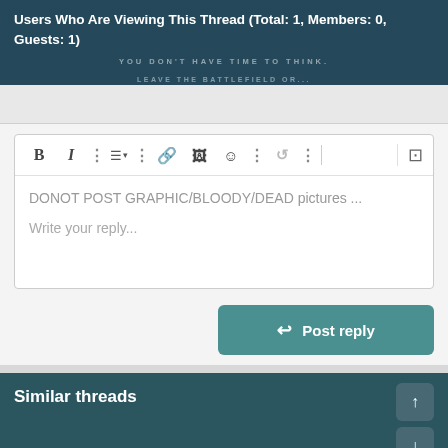Users Who Are Viewing This Thread (Total: 1, Members: 0, Guests: 1)
[Figure (screenshot): Forum reply editor with toolbar (Bold, Italic, dots, list, dots, link, image, emoji, dots, undo, dots) and a preview button on the right. Editor contains placeholder text: 'DONOT POST GRAPHIC/BLOODY/DEAD pictures ...' and 'Write your reply...']
Post reply
Similar threads
Seven PAF officers promoted to rank of Air Vice Marshal